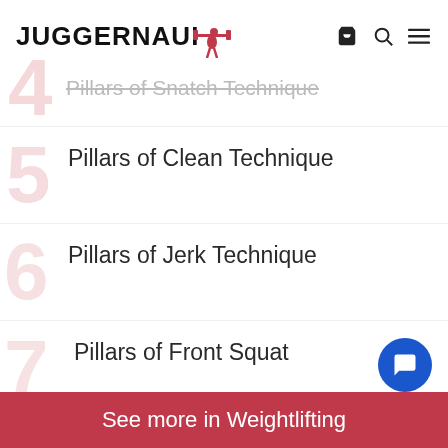JUGGERNAUT
4 Pillars of Snatch Technique
5 Pillars of Clean Technique
6 Pillars of Jerk Technique
7 Pillars of Front Squat
See more in Weightlifting